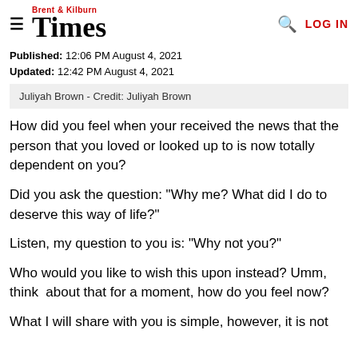Brent & Kilburn Times — LOG IN
Published: 12:06 PM August 4, 2021
Updated: 12:42 PM August 4, 2021
Juliyah Brown - Credit: Juliyah Brown
How did you feel when your received the news that the person that you loved or looked up to is now totally dependent on you?
Did you ask the question: "Why me? What did I do to deserve this way of life?"
Listen, my question to you is: "Why not you?"
Who would you like to wish this upon instead? Umm, think  about that for a moment, how do you feel now?
What I will share with you is simple, however, it is not